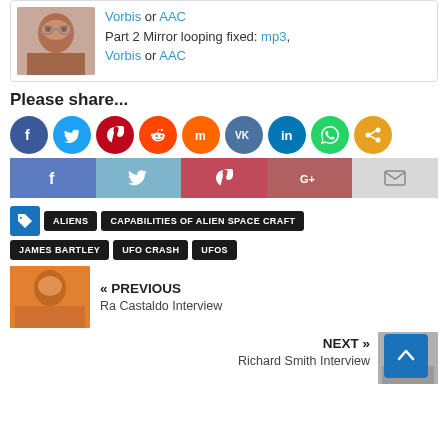[Figure (other): Top card with person photo and audio links: Vorbis or AAC, Part 2 Mirror looping fixed: mp3, Vorbis or AAC]
Please share...
[Figure (infographic): Social share icons row: Facebook, Twitter, Pinterest, Reddit, Mix, VK, LinkedIn, WhatsApp, Share]
[Figure (infographic): Social share bar: Facebook, Twitter, Pinterest, Google+, Email]
[Figure (infographic): Tags: ALIENS, CAPABILITIES OF ALIEN SPACE CRAFT, JAMES BARTLEY, UFO CRASH, UFOS]
[Figure (other): Previous navigation: Ra Castaldo Interview with thumbnail photo]
[Figure (other): Next navigation: Richard Smith Interview with thumbnail photo and back-to-top button]